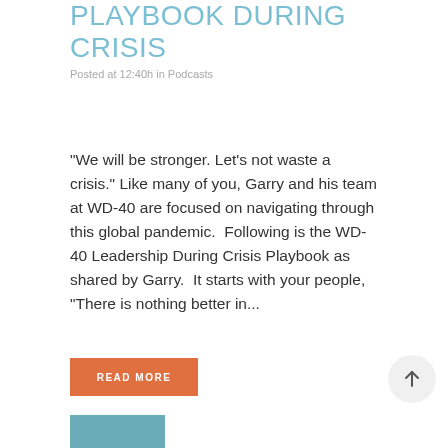PLAYBOOK DURING CRISIS
Posted at 12:40h in Podcasts
"We will be stronger. Let's not waste a crisis." Like many of you, Garry and his team at WD-40 are focused on navigating through this global pandemic.  Following is the WD-40 Leadership During Crisis Playbook as shared by Garry.  It starts with your people, “There is nothing better in...
READ MORE